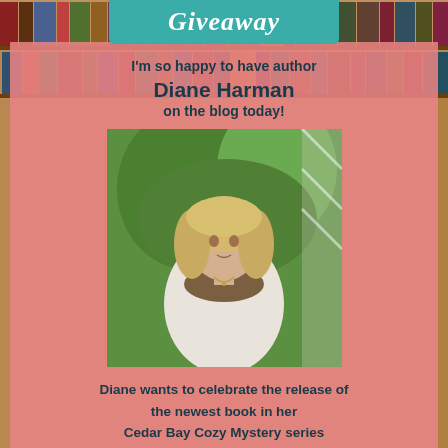Giveaway
I'm so happy to have author Diane Harman on the blog today!
[Figure (photo): Portrait photo of author Diane Harman, a woman with long blonde hair wearing a white jacket and brown scarf, with green foliage in the background]
Diane wants to celebrate the release of the newest book in her Cedar Bay Cozy Mystery series MURDER IN THE PEARL DISTRICT